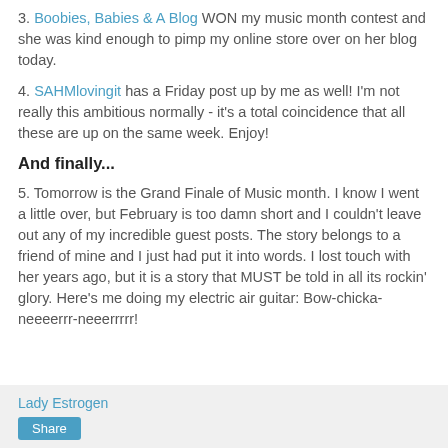3. Boobies, Babies & A Blog WON my music month contest and she was kind enough to pimp my online store over on her blog today.
4. SAHMlovingit has a Friday post up by me as well! I'm not really this ambitious normally - it's a total coincidence that all these are up on the same week. Enjoy!
And finally...
5. Tomorrow is the Grand Finale of Music month. I know I went a little over, but February is too damn short and I couldn't leave out any of my incredible guest posts. The story belongs to a friend of mine and I just had put it into words. I lost touch with her years ago, but it is a story that MUST be told in all its rockin' glory. Here's me doing my electric air guitar: Bow-chicka-neeeerrr-neeerrrrr!
Lady Estrogen